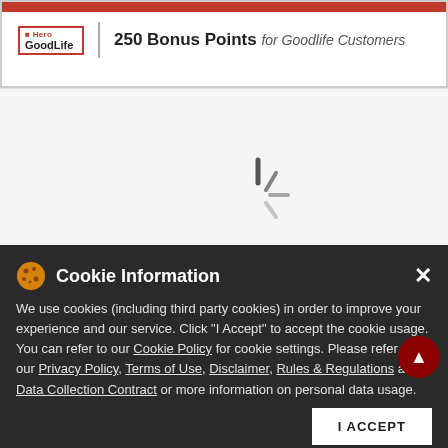[Figure (screenshot): Hero GoodLife logo with red border, showing stylized 'i' with 'Hero' text and 'GoodLife' below]
250 Bonus Points for Goodlife Customers
[Figure (logo): Android robot icon (green) for app download]
[Figure (logo): Apple logo icon for app download]
Cookie Information
We use cookies (including third party cookies) in order to improve your experience and our service. Click "I Accept" to accept the cookie usage. You can refer to our Cookie Policy for cookie settings. Please refer to our Privacy Policy, Terms of Use, Disclaimer, Rules & Regulations and Data Collection Contract or more information on personal data usage.